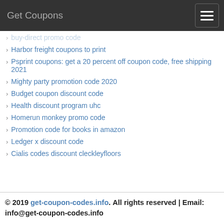Get Coupons
buy-direct promo code
Harbor freight coupons to print
Psprint coupons: get a 20 percent off coupon code, free shipping 2021
Mighty party promotion code 2020
Budget coupon discount code
Health discount program uhc
Homerun monkey promo code
Promotion code for books in amazon
Ledger x discount code
Cialis codes discount cleckleyfloors
© 2019 get-coupon-codes.info. All rights reserved | Email: info@get-coupon-codes.info